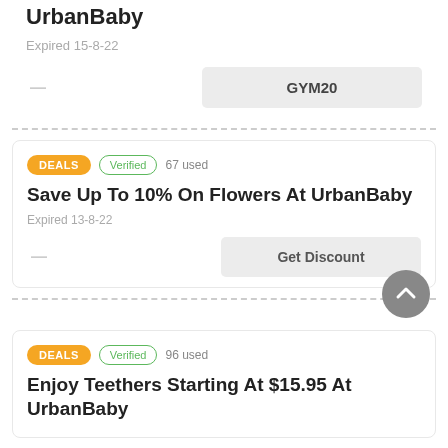UrbanBaby
Expired 15-8-22
GYM20
DEALS  Verified  67 used
Save Up To 10% On Flowers At UrbanBaby
Expired 13-8-22
Get Discount
DEALS  Verified  96 used
Enjoy Teethers Starting At $15.95 At UrbanBaby